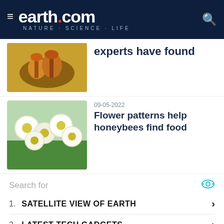earth.com NATURE · SCIENCE · LIFE
experts have found
09-05-2022
Flower patterns help honeybees find food
Search for
1. SATELLITE VIEW OF EARTH
2. LATEST TECH GADGETS
Animal Encyclopedia
Annelids